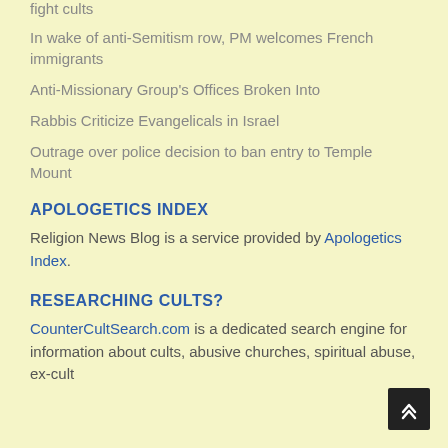fight cults
In wake of anti-Semitism row, PM welcomes French immigrants
Anti-Missionary Group's Offices Broken Into
Rabbis Criticize Evangelicals in Israel
Outrage over police decision to ban entry to Temple Mount
APOLOGETICS INDEX
Religion News Blog is a service provided by Apologetics Index.
RESEARCHING CULTS?
CounterCultSearch.com is a dedicated search engine for information about cults, abusive churches, spiritual abuse, ex-cult